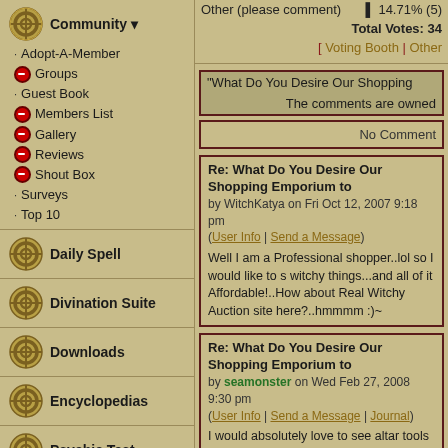Community ▼ · Adopt-A-Member · Groups · Guest Book · Members List · Gallery · Reviews · Shout Box · Surveys · Top 10
Daily Spell
Divination Suite
Downloads
Encyclopedias
Psychic Test
Recipes/Crafts
Other (please comment)  ▌14.71% (5)
Total Votes: 34
[ Voting Booth | Other
"What Do You Desire Our Shopping
The comments are owned
No Comment
Re: What Do You Desire Our Shopping Emporium to
by WitchKatya on Fri Oct 12, 2007 9:18 pm
(User Info | Send a Message)
Well I am a Professional shopper..lol so I would like to s witchy things...and all of it Affordable!..How about Real Witchy Auction site here?..hmmmm :)~
Re: What Do You Desire Our Shopping Emporium to
by seamonster on Wed Feb 27, 2008 9:30 pm
(User Info | Send a Message | Journal)
I would absolutely love to see altar tools and such, (i.e.